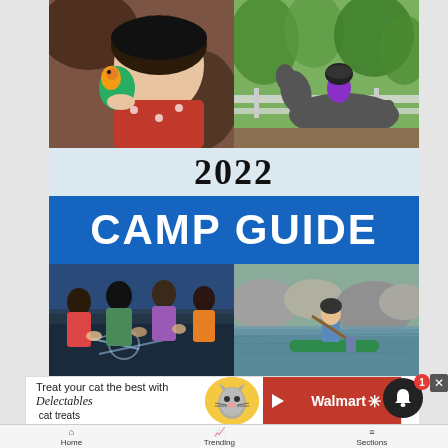[Figure (photo): Two photos: child holding a colorful parrot (left) and child riding a horse (right)]
2022
CAMP GUIDE
[Figure (photo): Two photos: children doing chalk art on the ground (left) and child on a paddleboard in water (right)]
[Figure (advertisement): Walmart advertisement: Treat your cat the best with Delectables cat treats]
Home  Trending  Sections